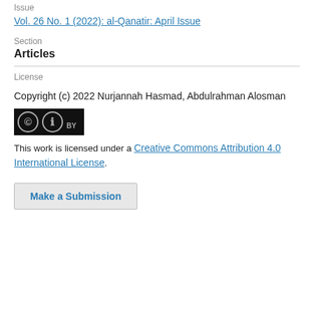Issue
Vol. 26 No. 1 (2022): al-Qanatir: April Issue
Section
Articles
License
Copyright (c) 2022 Nurjannah Hasmad, Abdulrahman Alosman
[Figure (logo): Creative Commons Attribution (CC BY) license badge]
This work is licensed under a Creative Commons Attribution 4.0 International License.
Make a Submission